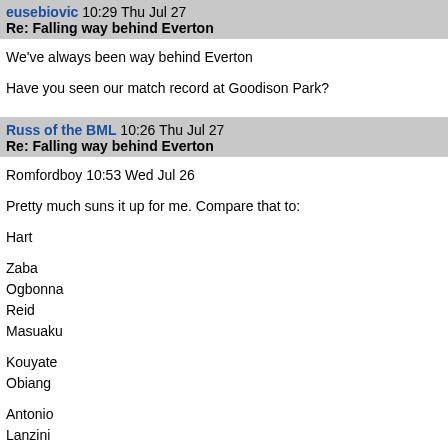eusebiovic 10:29 Thu Jul 27
Re: Falling way behind Everton
We've always been way behind Everton

Have you seen our match record at Goodison Park?
Russ of the BML 10:26 Thu Jul 27
Re: Falling way behind Everton
Romfordboy 10:53 Wed Jul 26

Pretty much suns it up for me. Compare that to:

Hart

Zaba
Ogbonna
Reid
Masuaku

Kouyate
Obiang

Antonio
Lanzini
Arnie

Hernandez

Way behind my arse. Everton were the only club doi
peoples heads and they started getting itchy feet an